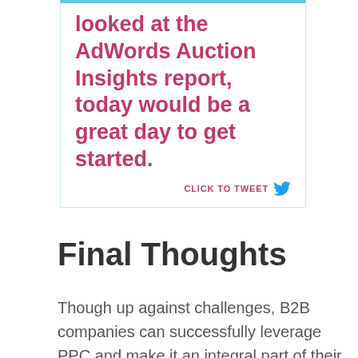looked at the AdWords Auction Insights report, today would be a great day to get started.
CLICK TO TWEET
Final Thoughts
Though up against challenges, B2B companies can successfully leverage PPC and make it an integral part of their marketing mix. The key to success is to speak to users where